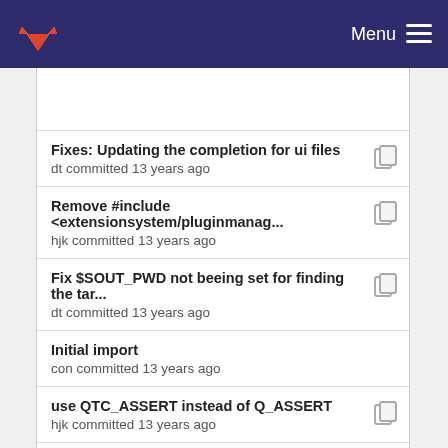GitLab — Menu
Fixes: Updating the completion for ui files — dt committed 13 years ago
Remove #include <extensionsystem/pluginmanag... — hjk committed 13 years ago
Fix $SOUT_PWD not beeing set for finding the tar... — dt committed 13 years ago
Initial import — con committed 13 years ago
use QTC_ASSERT instead of Q_ASSERT — hjk committed 13 years ago
Initial import — con committed 13 years ago